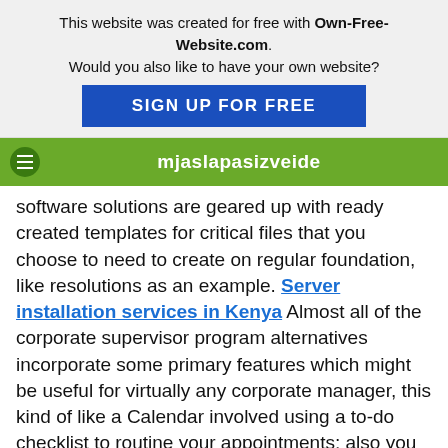This website was created for free with Own-Free-Website.com. Would you also like to have your own website? SIGN UP FOR FREE
mjaslapasizveide
software solutions are geared up with ready created templates for critical files that you choose to need to create on regular foundation, like resolutions as an example. Server installation services in Kenya Almost all of the corporate supervisor program alternatives incorporate some primary features which might be useful for virtually any corporate manager, this kind of like a Calendar involved using a to-do checklist to routine your appointments; also you could compose numerous company documents or publish assembly minutes by means of it. Many of the computer software remedies can generate paperwork with imported letterhead or organization seal. Being a summary for what we had currently mentioned, you may not shed through the use of such a software program resolution for taking care of your company. The corporate supervisor software package is usually really worth its selling price.